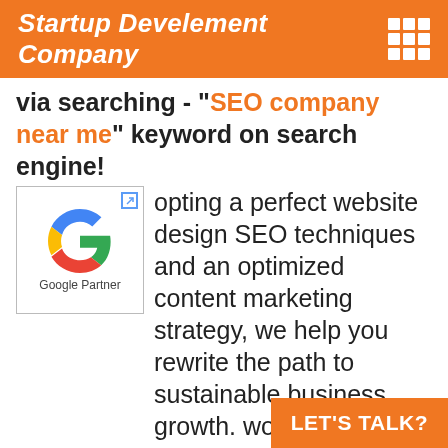Startup Develement Company
via searching - "SEO company near me" keyword on search engine!
[Figure (logo): Google Partner badge with Google 'G' logo and text 'Google Partner' below it]
opting a perfect website design SEO techniques and an optimized content marketing strategy, we help you rewrite the path to sustainable business growth. working with our partners and associates for SEO services in Delhi, Hyderabad. With thousands of keywords in the top positions, leading brands as clients, numerous testimonials from satisfied clients, awards and certifications from top organizations, you can rest assured that we know our optimization. search o